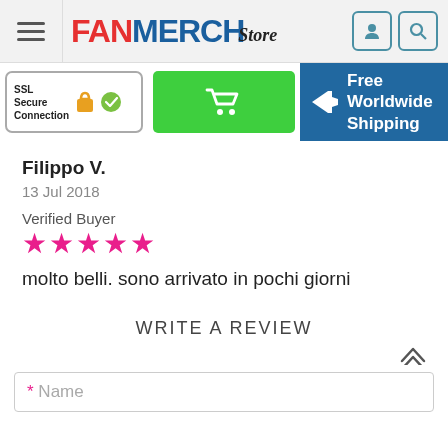FANMERCH Store
[Figure (screenshot): SSL Secure Connection badge with padlock and green checkmark]
[Figure (screenshot): Green add to cart button with shopping cart icon]
[Figure (screenshot): Blue Free Worldwide Shipping banner with airplane icon]
Filippo V.
13 Jul 2018
Verified Buyer
★★★★★
molto belli. sono arrivato in pochi giorni
WRITE A REVIEW
* Name